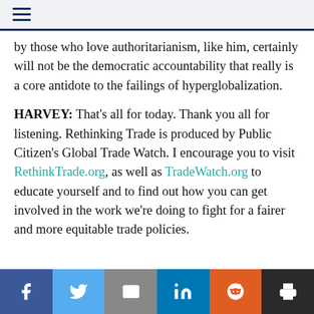(hamburger menu icon)
by those who love authoritarianism, like him, certainly will not be the democratic accountability that really is a core antidote to the failings of hyperglobalization.
HARVEY: That's all for today. Thank you all for listening. Rethinking Trade is produced by Public Citizen's Global Trade Watch. I encourage you to visit RethinkTrade.org, as well as TradeWatch.org to educate yourself and to find out how you can get involved in the work we're doing to fight for a fairer and more equitable trade policies.
Social share buttons: Facebook, Twitter, Email, LinkedIn, Reddit, Print